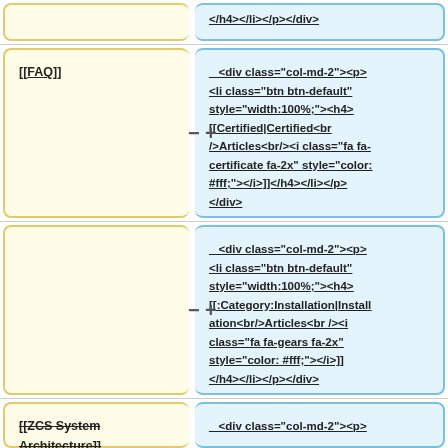</h4></li></p></div>
[[FAQ]]
<div class="col-md-2"><p> <li class="btn btn-default" style="width:100%;"><h4> [[Certified|Certified<br />Articles<br /><i class="fa fa-certificate fa-2x" style="color: #fff;"></i>]]</h4></li></p> </div>
<div class="col-md-2"><p> <li class="btn btn-default" style="width:100%;"><h4> [[:Category:Installation|Installation<br/>Articles<br /><i class="fa fa-gears fa-2x" style="color: #fff;"></i>]] </h4></li></p></div>
[[ZCS System Architecture]]
<div class="col-md-2"><p>